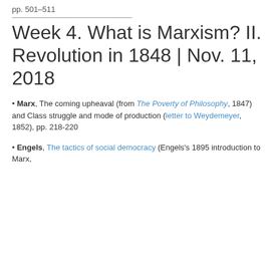pp. 501–511
Week 4. What is Marxism? II. Revolution in 1848 | Nov. 11, 2018
Marx, The coming upheaval (from The Poverty of Philosophy, 1847) and Class struggle and mode of production (letter to Weydemeyer, 1852), pp. 218-220
Engels, The tactics of social democracy (Engels's 1895 introduction to Marx,